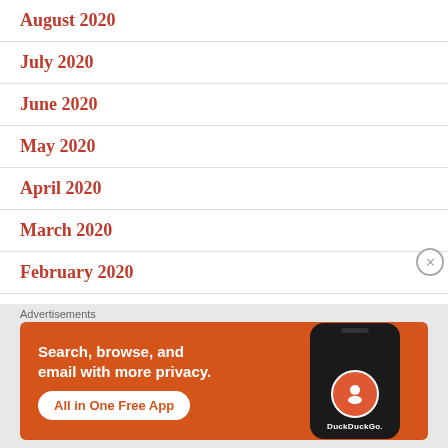August 2020
July 2020
June 2020
May 2020
April 2020
March 2020
February 2020
January 2020
[Figure (screenshot): DuckDuckGo advertisement banner on orange background with text 'Search, browse, and email with more privacy. All in One Free App' and a phone mockup showing DuckDuckGo logo]